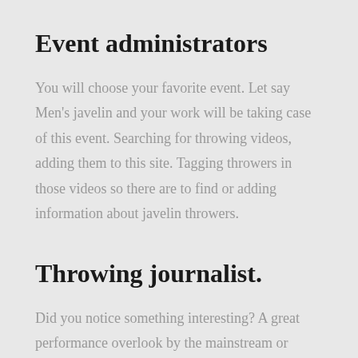Event administrators
You will choose your favorite event. Let say Men's javelin and your work will be taking case of this event. Searching for throwing videos, adding them to this site. Tagging throwers in those videos so there are to find or adding information about javelin throwers.
Throwing journalist.
Did you notice something interesting? A great performance overlook by the mainstream or interesting rumor. Share it with the rest of the